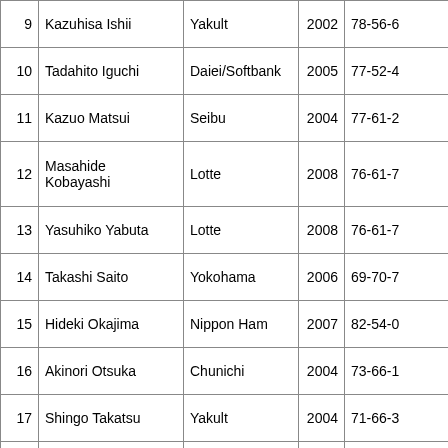| # | Name | Team | Year | NPB Record | MLB Record |
| --- | --- | --- | --- | --- | --- |
| 9 | Kazuhisa Ishii | Yakult | 2002 | 78-56-6 | 72-64- |
| 10 | Tadahito Iguchi | Daiei/Softbank | 2005 | 77-52-4 | 89-45- |
| 11 | Kazuo Matsui | Seibu | 2004 | 77-61-2 | 74-58- |
| 12 | Masahide Kobayashi | Lotte | 2008 | 76-61-7 | 73-70- |
| 13 | Yasuhiko Yabuta | Lotte | 2008 | 76-61-7 | 73-70- |
| 14 | Takashi Saito | Yokohama | 2006 | 69-70-7 | 58-84- |
| 15 | Hideki Okajima | Nippon Ham | 2007 | 82-54-0 | 79-60- |
| 16 | Akinori Otsuka | Chunichi | 2004 | 73-66-1 | 79-56- |
| 17 | Shingo Takatsu | Yakult | 2004 | 71-66-3 | 72-62- |
| 18 | Tsuyoshi Shinjyo | Hanshin | 2001 | 57-78-1 | 57-80- |
| 19 | Keiichi Yabu | Hanshin | 2005 | 66-70-2 | 87-54- |
| 20 | So Taguchi | Orix | 2002 | 70-66-4 | 50-87- |
| 21 | Satoru Komiyama | Yokohama | 2002 | 69-67-4 | 49-86- |
| 22 | Kazuo Fukumori | Rakuten | 2008 | 67-75-2 | 65-76- |